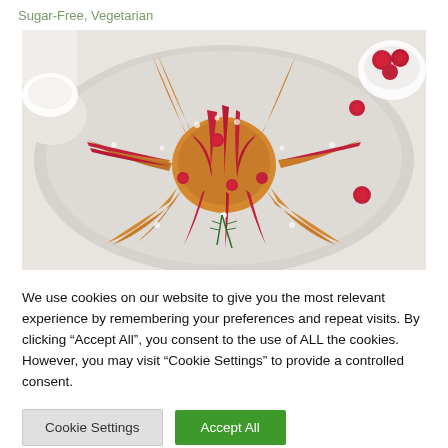Sugar-Free, Vegetarian
[Figure (photo): A star-shaped cranberry pastry dusted with powdered sugar, decorated with fresh cranberries and rosemary sprigs, on a white plate. A small bowl of cranberries visible in the top right corner.]
We use cookies on our website to give you the most relevant experience by remembering your preferences and repeat visits. By clicking “Accept All”, you consent to the use of ALL the cookies. However, you may visit "Cookie Settings" to provide a controlled consent.
Cookie Settings | Accept All